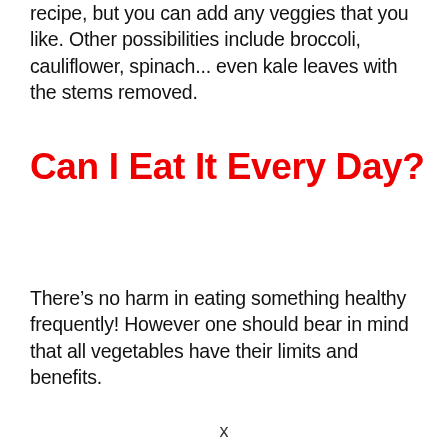recipe, but you can add any veggies that you like. Other possibilities include broccoli, cauliflower, spinach... even kale leaves with the stems removed.
Can I Eat It Every Day?
There’s no harm in eating something healthy frequently! However one should bear in mind that all vegetables have their limits and benefits.
x